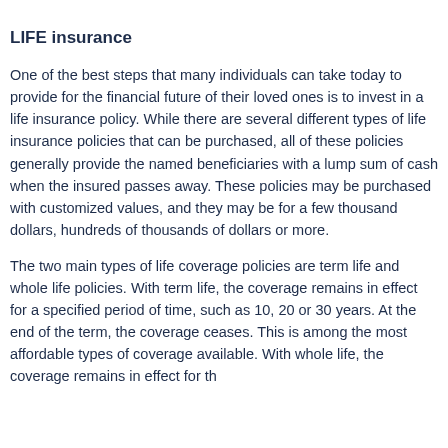LIFE insurance
One of the best steps that many individuals can take today to provide for the financial future of their loved ones is to invest in a life insurance policy. While there are several different types of life insurance policies that can be purchased, all of these policies generally provide the named beneficiaries with a lump sum of cash when the insured passes away. These policies may be purchased with customized values, and they may be for a few thousand dollars, hundreds of thousands of dollars or more.
The two main types of life coverage policies are term life and whole life policies. With term life, the coverage remains in effect for a specified period of time, such as 10, 20 or 30 years. At the end of the term, the coverage ceases. This is among the most affordable types of coverage available. With whole life, the coverage remains in effect for the...